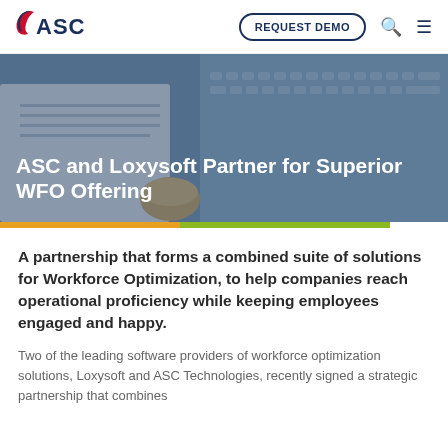[Figure (logo): ASC logo with swoosh in red/navy and text 'ASC']
REQUEST DEMO
[Figure (screenshot): Hero banner image showing a notebook and keyboard on a desk with blue tint overlay]
ASC and Loxysoft Partner for Superior WFO Offering
A partnership that forms a combined suite of solutions for Workforce Optimization, to help companies reach operational proficiency while keeping employees engaged and happy.
Two of the leading software providers of workforce optimization solutions, Loxysoft and ASC Technologies, recently signed a strategic partnership that combines